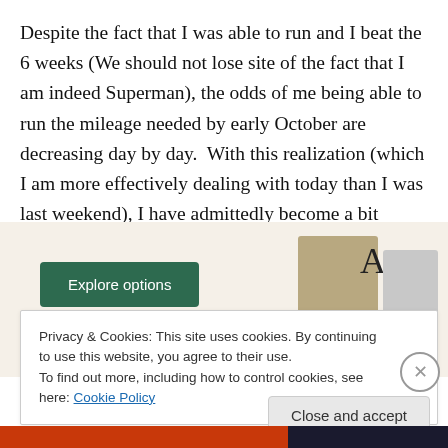Despite the fact that I was able to run and I beat the 6 weeks (We should not lose site of the fact that I am indeed Superman), the odds of me being able to run the mileage needed by early October are decreasing day by day.  With this realization (which I am more effectively dealing with today than I was last weekend), I have admittedly become a bit depressed.
[Figure (screenshot): Advertisement/website screenshot showing a green 'Explore options' button on a beige background with food imagery and letter A logo on the right side]
Privacy & Cookies: This site uses cookies. By continuing to use this website, you agree to their use.
To find out more, including how to control cookies, see here: Cookie Policy
Close and accept